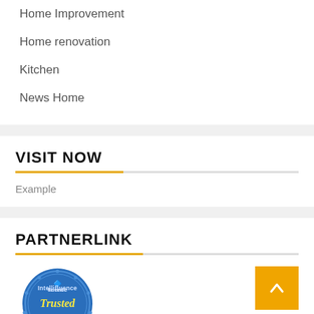Home Improvement
Home renovation
Kitchen
News Home
VISIT NOW
Example
PARTNERLINK
[Figure (logo): Intellifluence Trusted Blogger badge - circular blue badge with gold ribbon banner]